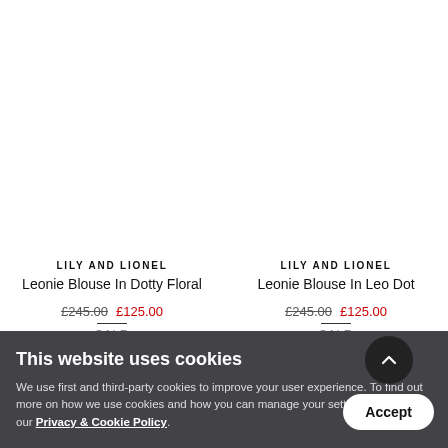LILY AND LIONEL
Leonie Blouse In Dotty Floral
£245.00  £125.00
SALE
LILY AND LIONEL
Leonie Blouse In Leo Dot
£245.00  £125.00
SALE
This website uses cookies
We use first and third-party cookies to improve your user experience. To find out more on how we use cookies and how you can manage your settings, please see our Privacy & Cookie Policy.